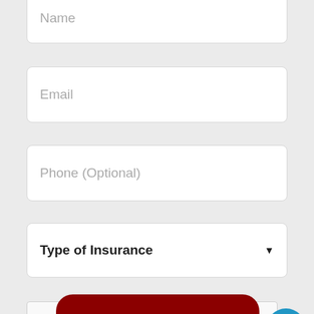Name
Email
Phone (Optional)
Type of Insurance
[Figure (screenshot): reCAPTCHA widget with checkbox, 'I'm not a robot' label, reCAPTCHA logo, and Privacy/Terms links]
[Figure (other): Blue circular chat/messaging button in bottom right corner]
Submit button (partial, dark red, cut off at bottom)